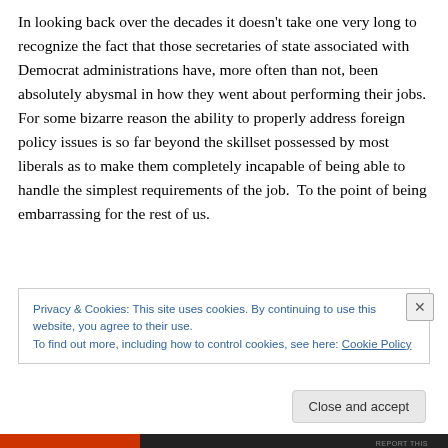In looking back over the decades it doesn't take one very long to recognize the fact that those secretaries of state associated with Democrat administrations have, more often than not, been absolutely abysmal in how they went about performing their jobs.  For some bizarre reason the ability to properly address foreign policy issues is so far beyond the skillset possessed by most liberals as to make them completely incapable of being able to handle the simplest requirements of the job.  To the point of being embarrassing for the rest of us.
Privacy & Cookies: This site uses cookies. By continuing to use this website, you agree to their use.
To find out more, including how to control cookies, see here: Cookie Policy
Close and accept